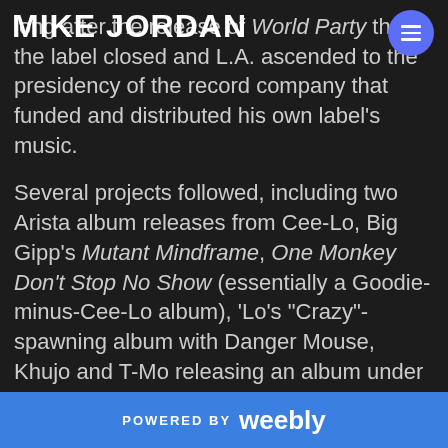MIKE JORDAN
long after the release of World Party that the label closed and L.A. ascended to the presidency of the record company that funded and distributed his own label's music.
Several projects followed, including two Arista album releases from Cee-Lo, Big Gipp's Mutant Mindframe, One Monkey Don't Stop No Show (essentially a Goodie-minus-Cee-Lo album), 'Lo's "Crazy"-spawning album with Danger Mouse, Khujo and T-Mo releasing an album under the name The Lumberjacks (Goodish...
POWERED BY weebly